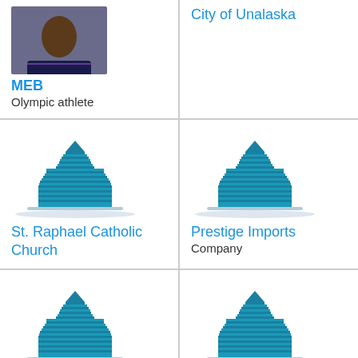[Figure (photo): Photo of MEB, a man in a dark polo shirt]
MEB
Olympic athlete
City of Unalaska
[Figure (logo): Building/company icon - teal skyscraper logo]
St. Raphael Catholic Church
[Figure (logo): Building/company icon - teal skyscraper logo]
Prestige Imports
Company
[Figure (logo): Building/company icon - teal skyscraper logo]
Home Tax & Pub...
[Figure (logo): Building/company icon - teal skyscraper logo]
Platinum C...